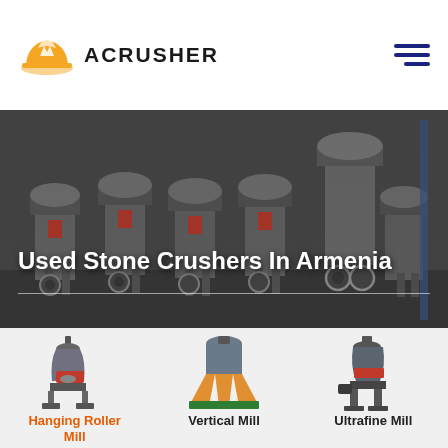ACRUSHER
Used Stone Crushers In Armenia
[Figure (photo): Industrial stone crusher machinery lined up in a factory hall, dark grey industrial setting]
[Figure (photo): Hanging Roller Mill machine product image]
Hanging Roller Mill
[Figure (photo): Vertical Mill machine product image]
Vertical Mill
[Figure (photo): Ultrafine Mill machine product image]
Ultrafine Mill